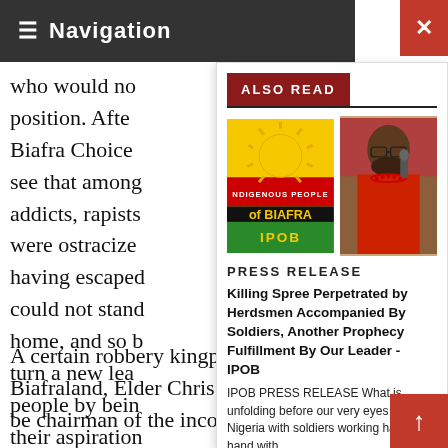≡ Navigation
who would no position. Afte Biafra Choice see that among addicts, rapists were ostracize having escaped could not stand home, and so b turn a new lea people by bein their aspiration peoples, but th
ALSO READ
[Figure (logo): Indigenous People of Biafra (IPOB) logo with sun, red/black/green stripes and yellow text]
[Figure (photo): A person in red traditional attire speaking into a microphone]
PRESS RELEASE
Killing Spree Perpetrated by Herdsmen Accompanied By Soldiers, Another Prophecy Fulfillment By Our Leader - IPOB
IPOB PRESS RELEASE What is unfolding before our very eyes today in Nigeria with soldiers working hand in hand with
A certain robbery kingpin when he was in Biafraland, Elder Chris Eluemunoh, claims to be chairman of the inconsequential group. He